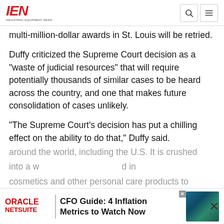IEN INDUSTRIAL EQUIPMENT NEWS
multi-million-dollar awards in St. Louis will be retried.
Duffy criticized the Supreme Court decision as a "waste of judicial resources" that will require potentially thousands of similar cases to be heard across the country, and one that makes future consolidation of cases unlikely.
"The Supreme Court's decision has put a chilling effect on the ability to do that," Duffy said.
Talc is the softest of minerals, mined from deposits around the world, including the U.S. It is crushed into a w... and in cosmetics and other personal care products to
[Figure (screenshot): Oracle NetSuite advertisement banner: CFO Guide: 4 Inflation Metrics to Watch Now]